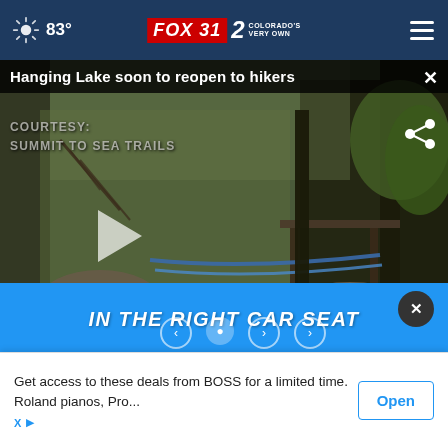83° FOX 31 2 COLORADO'S VERY OWN
Hanging Lake soon to reopen to hikers
[Figure (screenshot): Video screenshot of trail damage at Hanging Lake with courtesy credit to Summit to Sea Trails, a play button overlay, and share icon visible]
COURTESY: SUMMIT TO SEA TRAILS
IN THE RIGHT CAR SEAT
Get access to these deals from BOSS for a limited time. Roland pianos, Pro...
Open